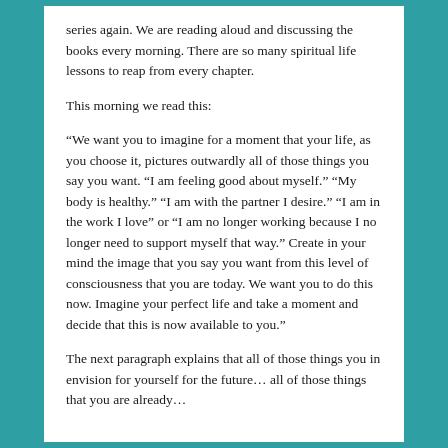series again. We are reading aloud and discussing the books every morning. There are so many spiritual life lessons to reap from every chapter.
This morning we read this:
“We want you to imagine for a moment that your life, as you choose it, pictures outwardly all of those things you say you want. “I am feeling good about myself.” “My body is healthy.” “I am with the partner I desire.” “I am in the work I love” or “I am no longer working because I no longer need to support myself that way.” Create in your mind the image that you say you want from this level of consciousness that you are today. We want you to do this now. Imagine your perfect life and take a moment and decide that this is now available to you.”
The next paragraph explains that all of those things you in envision for yourself for the future… all of those things that you are already…